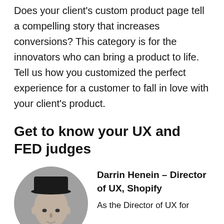Does your client's custom product page tell a compelling story that increases conversions? This category is for the innovators who can bring a product to life. Tell us how you customized the perfect experience for a customer to fall in love with your client's product.
Get to know your UX and FED judges
[Figure (photo): Black and white headshot photo of Darrin Henein in a circular crop]
Darrin Henein – Director of UX, Shopify
As the Director of UX for